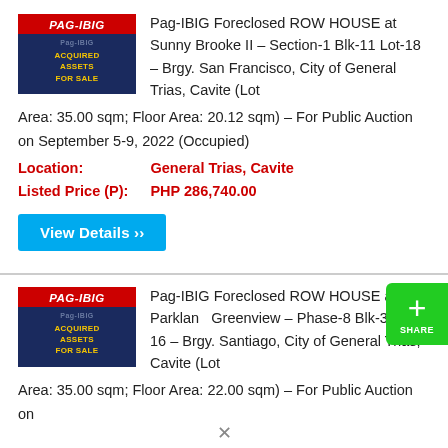Pag-IBIG Foreclosed ROW HOUSE at Sunny Brooke II – Section-1 Blk-11 Lot-18 – Brgy. San Francisco, City of General Trias, Cavite (Lot Area: 35.00 sqm; Floor Area: 20.12 sqm) – For Public Auction on September 5-9, 2022 (Occupied)
Location: General Trias, Cavite
Listed Price (P): PHP 286,740.00
View Details »
Pag-IBIG Foreclosed ROW HOUSE at Parkland Greenview – Phase-8 Blk-32 Lot-16 – Brgy. Santiago, City of General Trias, Cavite (Lot Area: 35.00 sqm; Floor Area: 22.00 sqm) – For Public Auction on